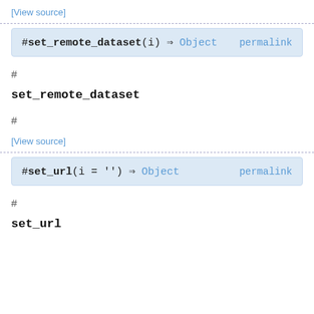[View source]
#set_remote_dataset(i) ⇒ Object  permalink
#
set_remote_dataset
#
[View source]
#set_url(i = '') ⇒ Object  permalink
#
set_url